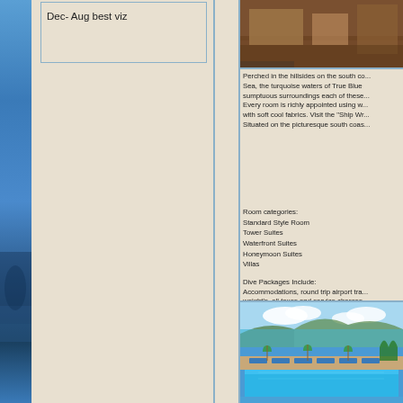[Figure (photo): Left side blue ocean/water photo strip]
Dec- Aug best viz
[Figure (photo): Top right photo of wooden interior room]
Perched in the hillsides on the south co... Sea, the turquoise waters of True Blue sumptuous surroundings each of these... Every room is richly appointed using w... with soft cool fabrics. Visit the "Ship Wr... Situated on the picturesque south coas...
Room categories:
Standard Style Room
Tower Suites
Waterfront Suites
Honeymoon Suites
Villas
Dive Packages Include:
Accommodations, round trip airport tra... weight's, all taxes and service charges.
[Figure (photo): Bottom right photo of resort pool with turquoise water, lounge chairs, umbrellas, and ocean/hills in background]